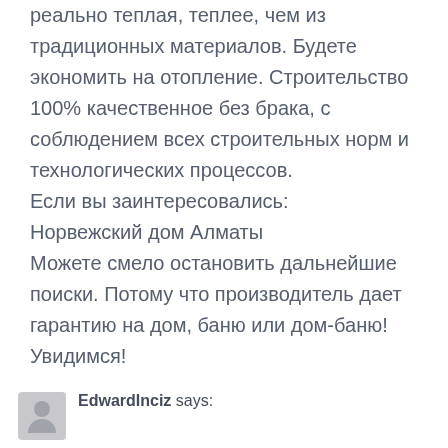реально теплая, теплее, чем из традиционных материалов. Будете экономить на отопление. Строительство 100% качественное без брака, с соблюдением всех строительных норм и технологических процессов. Если вы заинтересовались: Норвежский дом Алматы Можете смело остановить дальнейшие поиски. Потому что производитель дает гарантию на дом, баню или дом-баню! Увидимся!
EdwardInciz says: